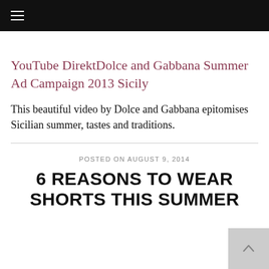≡
YouTube DirektDolce and Gabbana Summer Ad Campaign 2013 Sicily
This beautiful video by Dolce and Gabbana epitomises Sicilian summer, tastes and traditions.
POSTED ON AUGUST 9, 2014
6 REASONS TO WEAR SHORTS THIS SUMMER